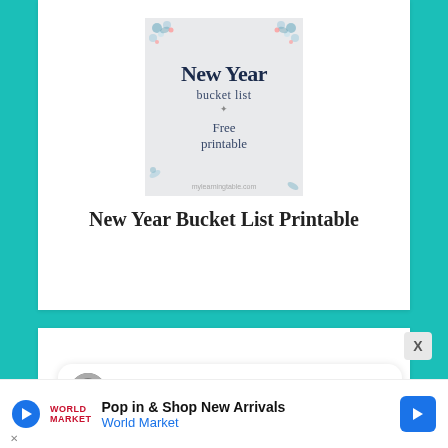[Figure (illustration): New Year bucket list free printable graphic with floral decorations in corners, light gray background]
New Year Bucket List Printable
Learning Table
Pop in & Shop New Arrivals World Market